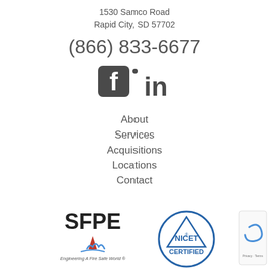1530 Samco Road
Rapid City, SD 57702
(866) 833-6677
[Figure (logo): Facebook and LinkedIn social media icons (f and in) in dark gray]
About
Services
Acquisitions
Locations
Contact
[Figure (logo): SFPE logo - Engineering A Fire Safe World, NICET Certified badge, and reCAPTCHA privacy widget]